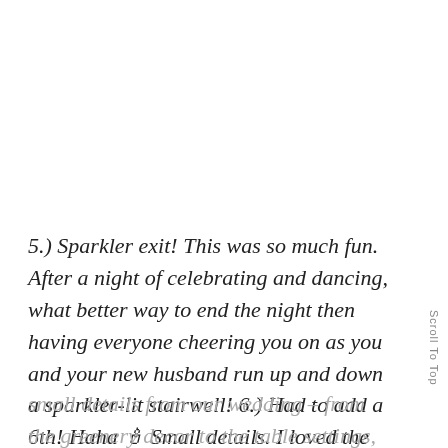5.) Sparkler exit! This was so much fun. After a night of celebrating and dancing, what better way to end the night then having everyone cheering you on as you and your new husband run up and down a sparkler-lit stairwell! 6.) Had to add a 6th! Haha 🕯 Small details. I loved the
small details from our wedding – from the greenery decor to the table settings,